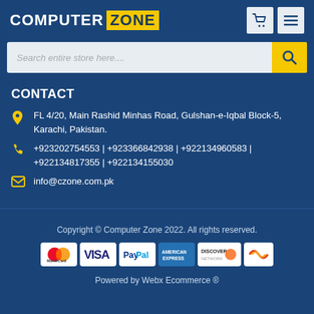COMPUTER ZONE
Search entire store here....
CONTACT
FL 4/20, Main Rashid Minhas Road, Gulshan-e-Iqbal Block-5, Karachi, Pakistan.
+923202754553 | +923366842938 | +922134960583 | +922134817355 | +922134155030
info@czone.com.pk
Copyright © Computer Zone 2022. All rights reserved.
[Figure (logo): Payment method logos: MasterCard, VISA, PayPal, American Express, Discover, and one more card logo]
Powered by Webx Ecommerce ®